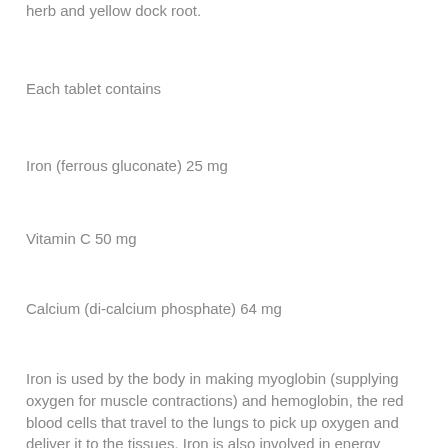herb and yellow dock root.
Each tablet contains
Iron (ferrous gluconate) 25 mg
Vitamin C 50 mg
Calcium (di-calcium phosphate) 64 mg
Iron is used by the body in making myoglobin (supplying oxygen for muscle contractions) and hemoglobin, the red blood cells that travel to the lungs to pick up oxygen and deliver it to the tissues. Iron is also involved in energy metabolism. Take one